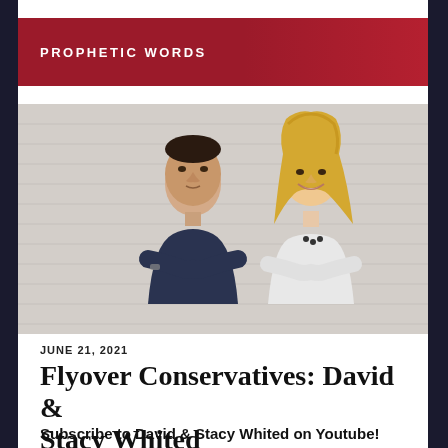PROPHETIC WORDS
[Figure (photo): A man and a woman posing back-to-back in front of a white brick wall. The man is on the left wearing a dark shirt with arms crossed. The woman is on the right with blonde hair wearing a white top with arms crossed.]
JUNE 21, 2021
Flyover Conservatives: David & Stacy Whited
Subscribe to David & Stacy Whited on Youtube!